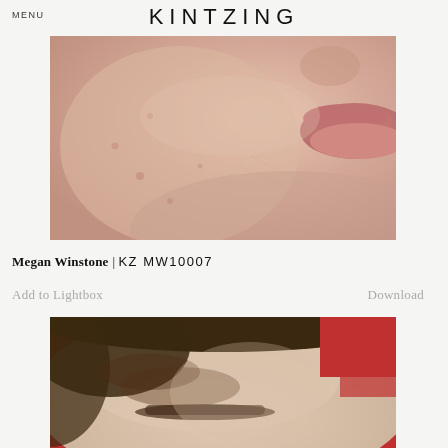MENU   KINTZING
[Figure (photo): Close-up photo of a person's face focusing on cheek, jaw, and lips area, showing skin with some blemishes on a light background]
Megan Winstone | KZ MW10007
Add to Lightbox    Download
[Figure (photo): Close-up photo of a person's forehead and eyebrow area with brown hair, against a red background]